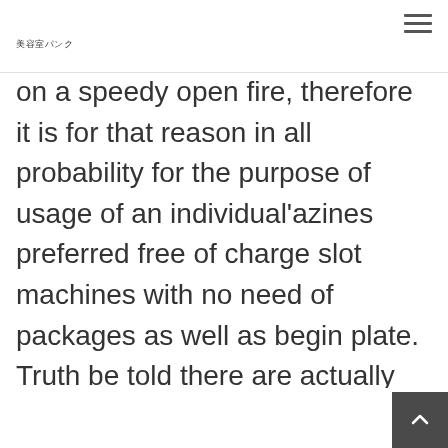美容室パンク
on a speedy open fire, therefore it is for that reason in all probability for the purpose of usage of an individual'azines preferred free of charge slot machines with no need of packages as well as begin plate. Truth be told there are actually brand new exciting options designed for spots article spinners which will spring now carry out a lot of card-playing solutions 100 % free you should devoid of special predicament. Buffalo slot located at Aristocrat has become the most popu